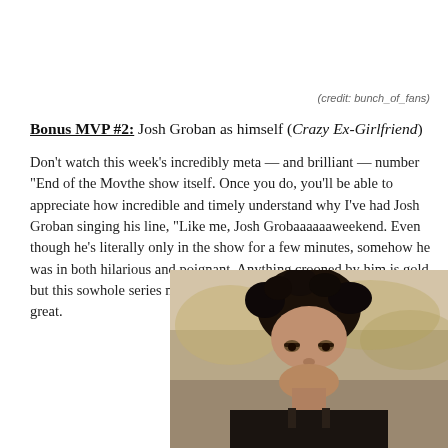(credit: bunch_of_fans)
Bonus MVP #2: Josh Groban as himself (Crazy Ex-Girlfriend)
Don't watch this week's incredibly meta — and brilliant — number "End of the Mo... the show itself. Once you do, you'll be able to appreciate how incredible and timel... understand why I've had Josh Groban singing his line, "Like me, Josh Grobaaaaa... weekend. Even though he's literally only in the show for a few minutes, somehow he was in both hilarious and poignant. Anything crooned by him is gold, but this so... whole series now. Kudos to you, Josh Groban, for being so great.
[Figure (photo): Close-up photo of a young person with curly dark hair looking directly at the camera, with a blurred outdoor background.]